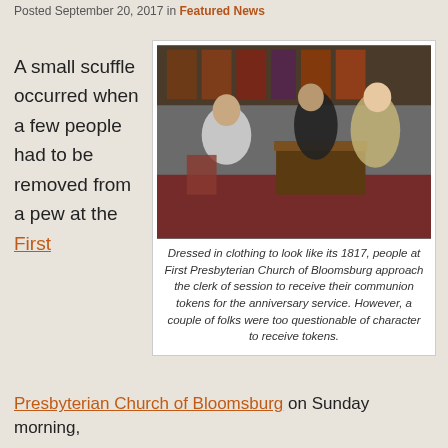Posted September 20, 2017 in Featured News
A small scuffle occurred when a few people had to be removed from a pew at the First
[Figure (photo): People dressed in 1817-era clothing at First Presbyterian Church of Bloomsburg approaching the clerk of session to receive communion tokens for the anniversary service.]
Dressed in clothing to look like its 1817, people at First Presbyterian Church of Bloomsburg approach the clerk of session to receive their communion tokens for the anniversary service. However, a couple of folks were too questionable of character to receive tokens.
Presbyterian Church of Bloomsburg on Sunday morning,